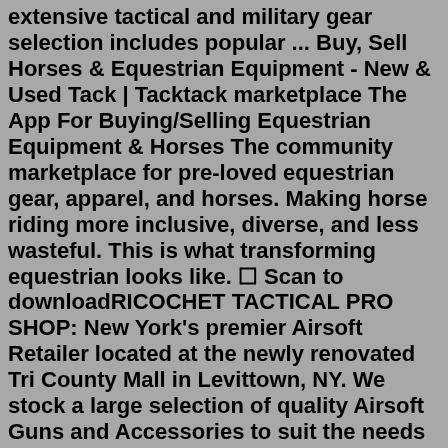extensive tactical and military gear selection includes popular ... Buy, Sell Horses & Equestrian Equipment - New & Used Tack | Tacktack marketplace The App For Buying/Selling Equestrian Equipment & Horses The community marketplace for pre-loved equestrian gear, apparel, and horses. Making horse riding more inclusive, diverse, and less wasteful. This is what transforming equestrian looks like. 🔲 Scan to downloadRICOCHET TACTICAL PRO SHOP: New York's premier Airsoft Retailer located at the newly renovated Tri County Mall in Levittown, NY. We stock a large selection of quality Airsoft Guns and Accessories to suit the needs of every level player. Whether you are starting out or looking to upgrade, we have the product you may be looking for. The official merchandise store for TacticalProSupply. Amazon Music Stream millions of songs: Amazon Advertising Find, attract, and Specialties: Tac City Airsoft is California's premiere indoor airsoft arena.Open 7 days a week for public and private play. We are over 30,000 sq. ft with fully stocked pro shop